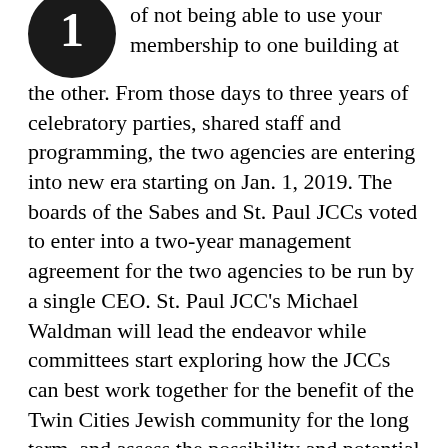of not being able to use your membership to one building at the other. From those days to three years of celebratory parties, shared staff and programming, the two agencies are entering into new era starting on Jan. 1, 2019. The boards of the Sabes and St. Paul JCCs voted to enter into a two-year management agreement for the two agencies to be run by a single CEO. St. Paul JCC's Michael Waldman will lead the endeavor while committees start exploring how the JCCs can best work together for the benefit of the Twin Cities Jewish community for the long term, and assess the possibility and potential of a combined Twin Cities JCC with two campuses.
The discussions of each of the boards to take this step has been ongoing through most of the year. As part of the decision, Sabes JCC CEO